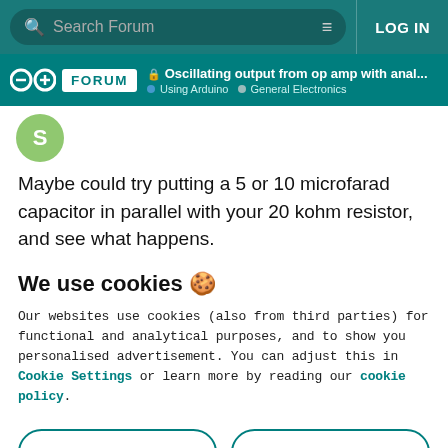Search Forum | LOG IN
Oscillating output from op amp with anal... | Using Arduino | General Electronics
Maybe could try putting a 5 or 10 microfarad capacitor in parallel with your 20 kohm resistor, and see what happens.
We use cookies 🍪
Our websites use cookies (also from third parties) for functional and analytical purposes, and to show you personalised advertisement. You can adjust this in Cookie Settings or learn more by reading our cookie policy.
ONLY REQUIRED | ACCEPT ALL